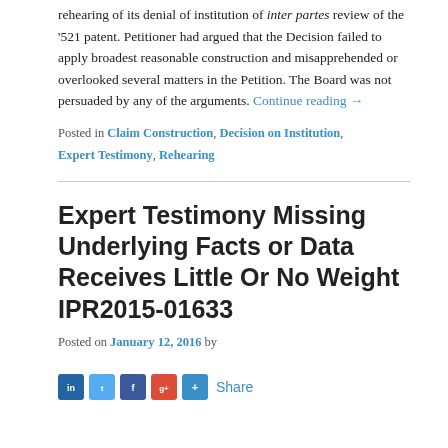rehearing of its denial of institution of inter partes review of the '521 patent. Petitioner had argued that the Decision failed to apply broadest reasonable construction and misapprehended or overlooked several matters in the Petition. The Board was not persuaded by any of the arguments. Continue reading →
Posted in Claim Construction, Decision on Institution, Expert Testimony, Rehearing
Expert Testimony Missing Underlying Facts or Data Receives Little Or No Weight IPR2015-01633
Posted on January 12, 2016 by
[Figure (other): Social sharing icons bar: LinkedIn, Twitter, Facebook, Google+, Add/Plus button, and Share text link]